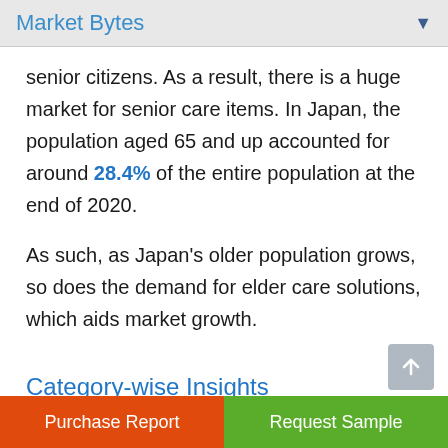Market Bytes
senior citizens. As a result, there is a huge market for senior care items. In Japan, the population aged 65 and up accounted for around 28.4% of the entire population at the end of 2020.
As such, as Japan's older population grows, so does the demand for elder care solutions, which aids market growth.
Category-wise Insights
Purchase Report | Request Sample